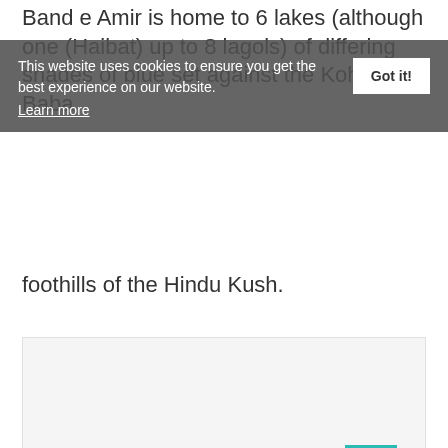Band e Amir is home to 6 lakes (although one (Haibat) up to 8 lagols) of differing shades of blue set against the Koh e Baba foothills of the Hindu Kush.
[Figure (screenshot): Cookie consent popup overlay on a webpage with semi-transparent dark background. Contains text 'This website uses cookies to ensure you get the best experience on our website.' with a 'Got it!' button and 'Learn more' link.]
[Figure (other): Light grey advertisement or content placeholder box.]